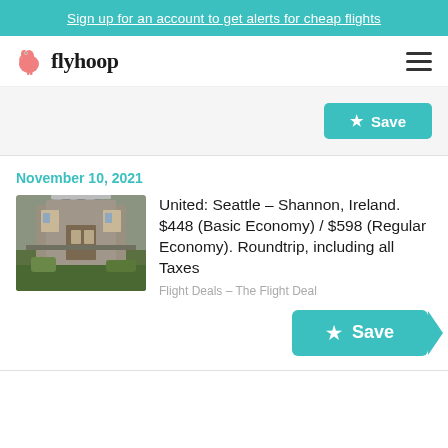Sign up for an account to get alerts for cheap flights
[Figure (logo): Flyhoop logo with flamingo icon and wordmark 'flyhoop']
Save
November 10, 2021
[Figure (photo): Photo of a historic stone church or cathedral building]
United: Seattle – Shannon, Ireland. $448 (Basic Economy) / $598 (Regular Economy). Roundtrip, including all Taxes
Flight Deals – The Flight Deal
Save